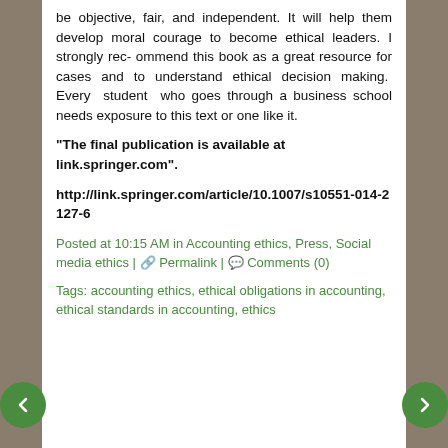be objective, fair, and independent. It will help them develop moral courage to become ethical leaders. I strongly rec- ommend this book as a great resource for cases and to understand ethical decision making. Every student who goes through a business school needs exposure to this text or one like it.
“The final publication is available at link.springer.com”.
http://link.springer.com/article/10.1007/s10551-014-2127-6
Posted at 10:15 AM in Accounting ethics, Press, Social media ethics | 🔗 Permalink | 💬 Comments (0)
Tags: accounting ethics, ethical obligations in accounting, ethical standards in accounting, ethics